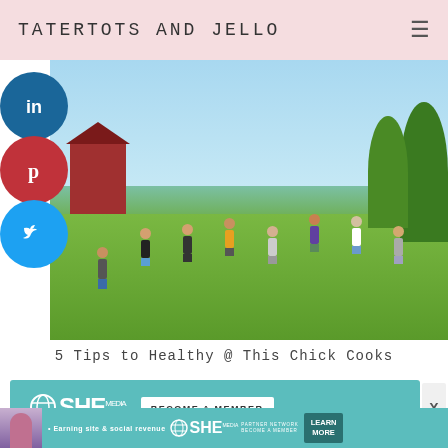TATERTOTS AND JELLO
[Figure (photo): Group of people jumping joyfully on a green lawn outdoors with a barn in background, blue sky, bright sunny day. Social media share buttons for LinkedIn, Pinterest, and Twitter on the left side.]
5 Tips to Healthy @ This Chick Cooks
[Figure (infographic): SHE Media Partner Network advertisement banner in teal color with 'BECOME A MEMBER' button in white]
[Figure (infographic): SHE Media Partner Network advertisement banner with person image, text 'Earning site & social revenue' and 'LEARN MORE' button]